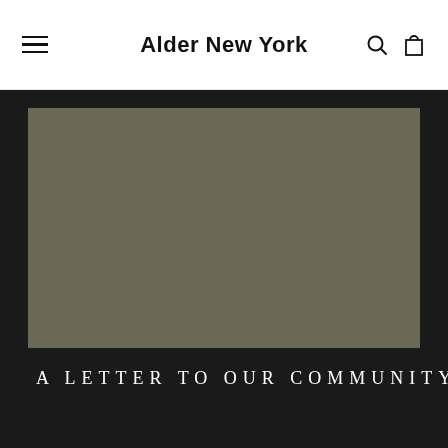Alder New York
[Figure (photo): Large rectangular image placeholder with olive/dark khaki background color, no visible content]
A LETTER TO OUR COMMUNITY